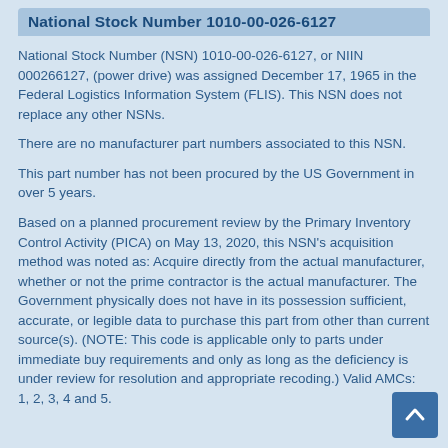National Stock Number 1010-00-026-6127
National Stock Number (NSN) 1010-00-026-6127, or NIIN 000266127, (power drive) was assigned December 17, 1965 in the Federal Logistics Information System (FLIS). This NSN does not replace any other NSNs.
There are no manufacturer part numbers associated to this NSN.
This part number has not been procured by the US Government in over 5 years.
Based on a planned procurement review by the Primary Inventory Control Activity (PICA) on May 13, 2020, this NSN's acquisition method was noted as: Acquire directly from the actual manufacturer, whether or not the prime contractor is the actual manufacturer. The Government physically does not have in its possession sufficient, accurate, or legible data to purchase this part from other than current source(s). (NOTE: This code is applicable only to parts under immediate buy requirements and only as long as the deficiency is under review for resolution and appropriate recoding.) Valid AMCs: 1, 2, 3, 4 and 5.